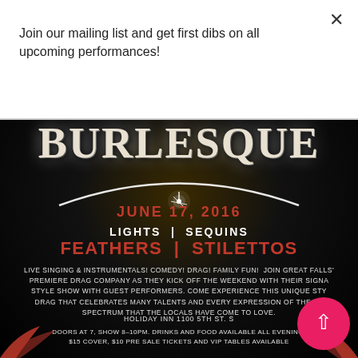Join our mailing list and get first dibs on all upcoming performances!
Subscribe
[Figure (illustration): Burlesque show event poster on black background. Large distressed text reads BURLESQUE at top with an arc and sparkle graphic. Date JUNE 17, 2016 in red. LIGHTS | SEQUINS in white, FEATHERS | STILETTOS in red bold. Description text about live singing, comedy, drag, family fun at Holiday Inn 1100 5th St S. Doors at 7, Show 8-10pm, drinks and food, $15 cover, $10 pre-sale tickets and VIP tables available. Red feather decorations at bottom corners. Pink circle back-to-top button at bottom right.]